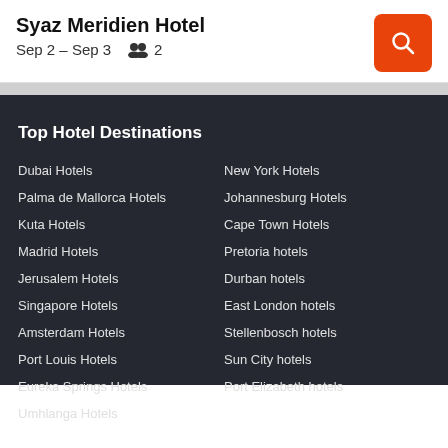Syaz Meridien Hotel
Sep 2 – Sep 3   2
Top Hotel Destinations
Dubai Hotels
New York Hotels
Palma de Mallorca Hotels
Johannesburg Hotels
Kuta Hotels
Cape Town Hotels
Madrid Hotels
Pretoria hotels
Jerusalem Hotels
Durban hotels
Singapore Hotels
East London hotels
Amsterdam Hotels
Stellenbosch hotels
Port Louis Hotels
Sun City hotels
Eureka Springs Hotels
Port Elizabeth hotels
Umhlanga Hotels